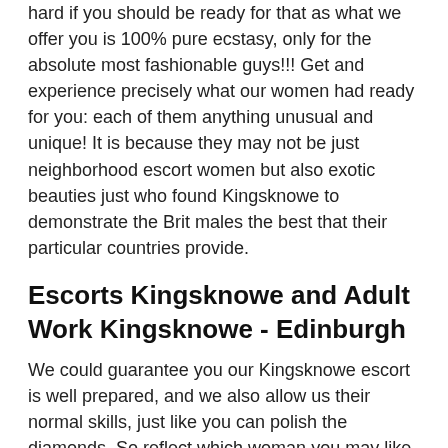hard if you should be ready for that as what we offer you is 100% pure ecstasy, only for the absolute most fashionable guys!!! Get and experience precisely what our women had ready for you: each of them anything unusual and unique! It is because they may not be just neighborhood escort women but also exotic beauties just who found Kingsknowe to demonstrate the Brit males the best that their particular countries provide.
Escorts Kingsknowe and Adult Work Kingsknowe - Edinburgh
We could guarantee you our Kingsknowe escort is well prepared, and we also allow us their normal skills, just like you can polish the diamonds. So reflect which woman you may like to invite for this unique evening as the 'One' is undoubtedly truth be told there between our escorts waiting for your sign or call